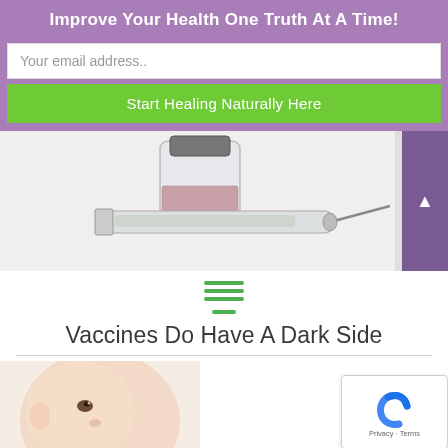Improve Your Health One Truth At A Time!
Your email address..
Start Healing Naturally Here
[Figure (photo): Close-up photo of a medical vial and syringe on a white background]
[Figure (illustration): Green hamburger menu icon with four horizontal lines]
Vaccines Do Have A Dark Side
[Figure (photo): Close-up photo of a baby looking upward]
[Figure (other): reCAPTCHA widget showing Privacy and Terms]